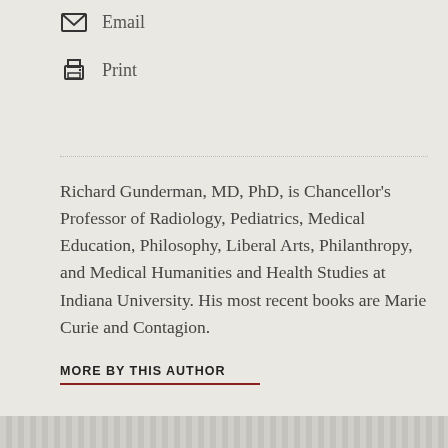Email
Print
Richard Gunderman, MD, PhD, is Chancellor's Professor of Radiology, Pediatrics, Medical Education, Philosophy, Liberal Arts, Philanthropy, and Medical Humanities and Health Studies at Indiana University. His most recent books are Marie Curie and Contagion.
MORE BY THIS AUTHOR